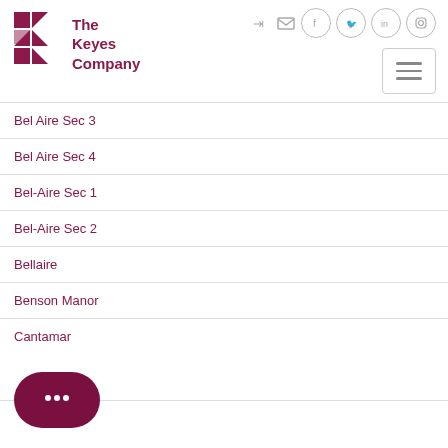[Figure (logo): The Keyes Company logo with stylized K in dark red/maroon]
Bel Aire Sec 3
Bel Aire Sec 4
Bel-Aire Sec 1
Bel-Aire Sec 2
Bellaire
Benson Manor
Cantamar
[Figure (illustration): Dark red chat bubble icon with three dots]